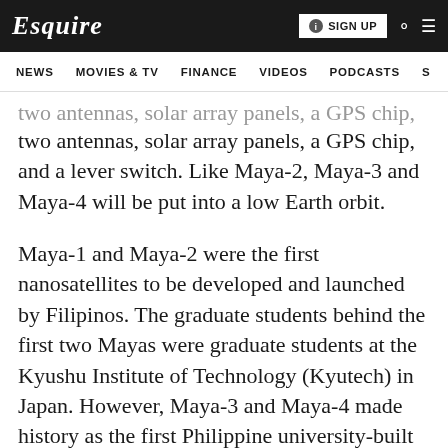Esquire | SIGN UP
NEWS   MOVIES & TV   FINANCE   VIDEOS   PODCASTS
two antennas, solar array panels, a GPS chip, and a lever switch. Like Maya-2, Maya-3 and Maya-4 will be put into a low Earth orbit.
Maya-1 and Maya-2 were the first nanosatellites to be developed and launched by Filipinos. The graduate students behind the first two Mayas were graduate students at the Kyushu Institute of Technology (Kyutech) in Japan. However, Maya-3 and Maya-4 made history as the first Philippine university-built nanosatellites sent to space.